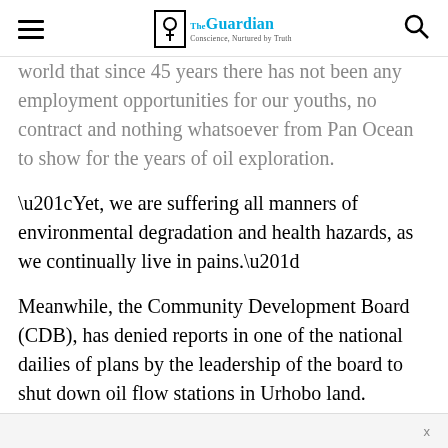The Guardian — Conscience, Nurtured by Truth
world that since 45 years there has not been any employment opportunities for our youths, no contract and nothing whatsoever from Pan Ocean to show for the years of oil exploration.
“Yet, we are suffering all manners of environmental degradation and health hazards, as we continually live in pains.”
Meanwhile, the Community Development Board (CDB), has denied reports in one of the national dailies of plans by the leadership of the board to shut down oil flow stations in Urhobo land.
x